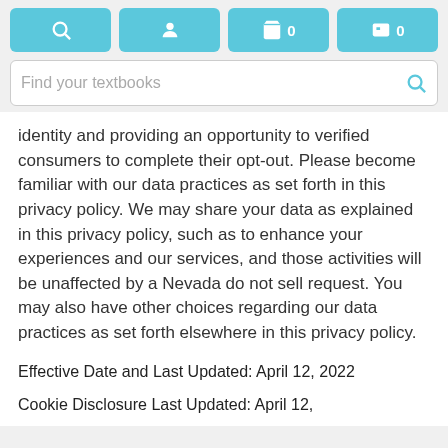Navigation bar with search, account, cart (0), and wallet (0) icons, and a 'Find your textbooks' search field
identity and providing an opportunity to verified consumers to complete their opt-out. Please become familiar with our data practices as set forth in this privacy policy. We may share your data as explained in this privacy policy, such as to enhance your experiences and our services, and those activities will be unaffected by a Nevada do not sell request. You may also have other choices regarding our data practices as set forth elsewhere in this privacy policy.
Effective Date and Last Updated: April 12, 2022
Cookie Disclosure Last Updated: April 12,